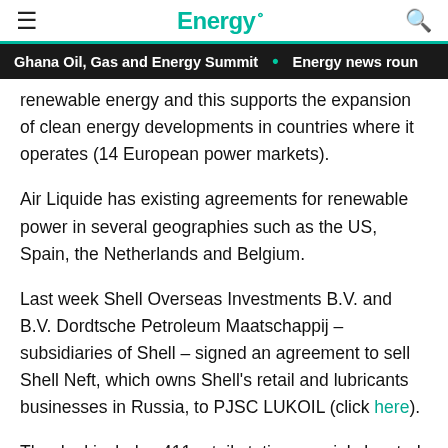Energy.
Ghana Oil, Gas and Energy Summit • Energy news roun
renewable energy and this supports the expansion of clean energy developments in countries where it operates (14 European power markets).
Air Liquide has existing agreements for renewable power in several geographies such as the US, Spain, the Netherlands and Belgium.
Last week Shell Overseas Investments B.V. and B.V. Dordtsche Petroleum Maatschappij – subsidiaries of Shell – signed an agreement to sell Shell Neft, which owns Shell's retail and lubricants businesses in Russia, to PJSC LUKOIL (click here).
The deal includes 411 retail stations, mainly located in the Central and Northwestern regions of Russia, and the ...